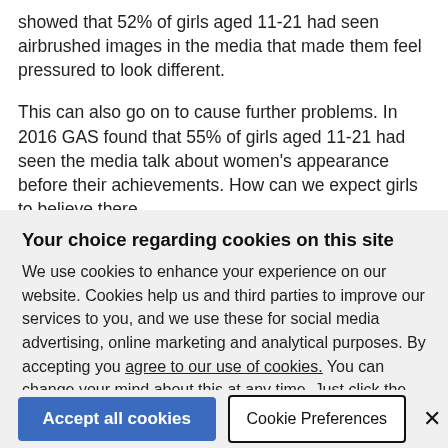showed that 52% of girls aged 11-21 had seen airbrushed images in the media that made them feel pressured to look different.
This can also go on to cause further problems. In 2016 GAS found that 55% of girls aged 11-21 had seen the media talk about women's appearance before their achievements. How can we expect girls to believe there
Your choice regarding cookies on this site
We use cookies to enhance your experience on our website. Cookies help us and third parties to improve our services to you, and we use these for social media advertising, online marketing and analytical purposes. By accepting you agree to our use of cookies. You can change your mind about this at any time. Just click the "C" icon in the bottom-left corner of any page. Have a look at our privacy policy
Accept all cookies | Cookie Preferences | ×